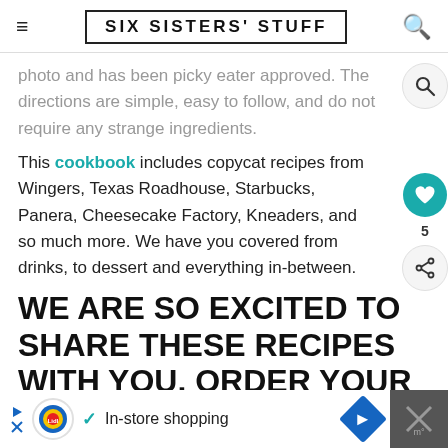SIX SISTERS' STUFF
photo and has been picky eater approved. The directions are simple, easy to follow, and do not require any strange ingredients.
This cookbook includes copycat recipes from Wingers, Texas Roadhouse, Starbucks, Panera, Cheesecake Factory, Kneaders, and so much more. We have you covered from drinks, to dessert and everything in-between.
WE ARE SO EXCITED TO SHARE THESE RECIPES WITH YOU. ORDER YOUR COPY TODAY!
[Figure (screenshot): Lidl advertisement bar: In-store shopping with Lidl logo, checkmark, and navigation arrow]